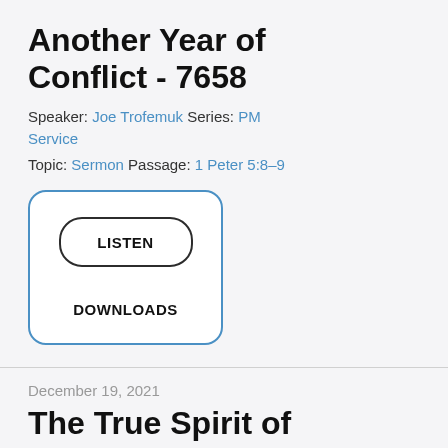Another Year of Conflict - 7658
Speaker: Joe Trofemuk Series: PM Service
Topic: Sermon Passage: 1 Peter 5:8–9
[Figure (other): UI button box with rounded blue border containing a LISTEN button (dark oval) and DOWNLOADS label]
December 19, 2021
The True Spirit of Christmas - Part 2